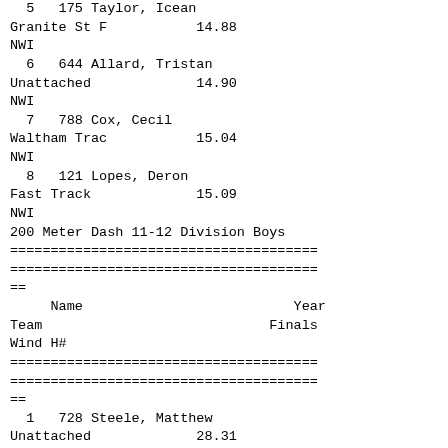5  175 Taylor, Icean
Granite St F           14.88
NWI
6  644 Allard, Tristan
Unattached             14.90
NWI
7  788 Cox, Cecil
Waltham Trac           15.04
NWI
8  121 Lopes, Deron
Fast Track             15.09
NWI
200 Meter Dash 11-12 Division Boys
======================================
======================================
==
Name                          Year
Team                            Finals
Wind H#
======================================
======================================
==
1  728 Steele, Matthew
Unattached             28.31
NWI  2
2   19 Collins, Nate
Baa Masconom           29.00
NWI  1
3  390 Adigwe, Chigozie